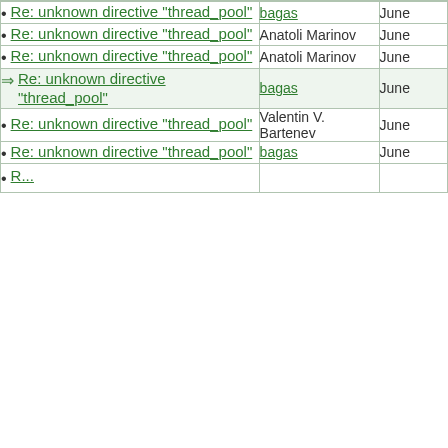| Subject | Author | Date |
| --- | --- | --- |
| Re: unknown directive "thread_pool" | bagas | June |
| Re: unknown directive "thread_pool" | Anatoli Marinov | June |
| Re: unknown directive "thread_pool" | Anatoli Marinov | June |
| Re: unknown directive "thread_pool" | bagas | June |
| Re: unknown directive "thread_pool" | Valentin V. Bartenev | June |
| Re: unknown directive "thread_pool" | bagas | June |